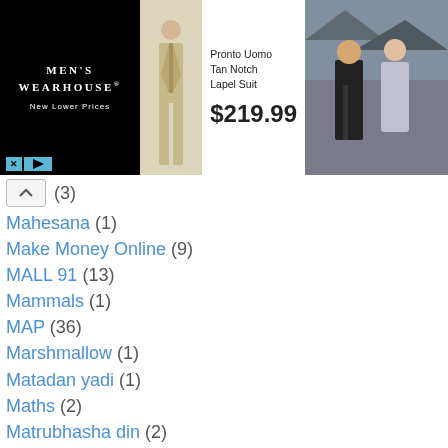[Figure (screenshot): Men's Wearhouse advertisement banner showing a tan notch lapel suit priced at $219.99 with a man and woman in formal wear]
^ (3)
Mahesana (1)
Make Money Online (9)
MALL 91 (13)
Mammals (1)
MAP (36)
Marshmallow (1)
Matadan yadi (1)
Maths (2)
Matrubhasha din (2)
Mbose 10th (1)
MCQ (3)
Mdm (1)
Mechanisms (1)
MEHAKAM (1)